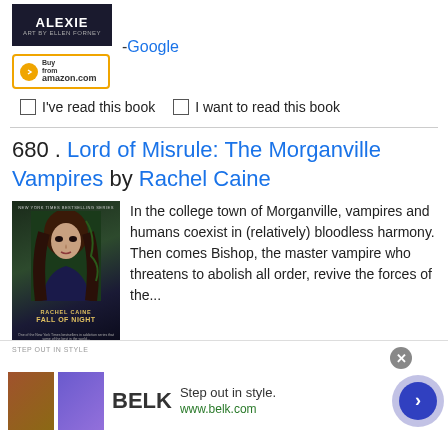[Figure (illustration): Book cover for Sherman Alexie title, dark background with author name in white capital letters, small subtitle text below]
[Figure (illustration): Amazon Buy button with orange border, circular arrow icon and amazon.com logo]
- Google
I've read this book    I want to read this book
680 . Lord of Misrule: The Morganville Vampires by Rachel Caine
[Figure (photo): Book cover for Rachel Caine Fall of Night, Morganville Vampires series. Shows a young woman with dark hair against a dark green background. Author name and title in gold at bottom.]
In the college town of Morganville, vampires and humans coexist in (relatively) bloodless harmony. Then comes Bishop, the master vampire who threatens to abolish all order, revive the forces of the...
[Figure (illustration): Advertisement for BELK department store. 'Step out in style.' www.belk.com. Shows two fashion images, close button, and navigation arrow.]